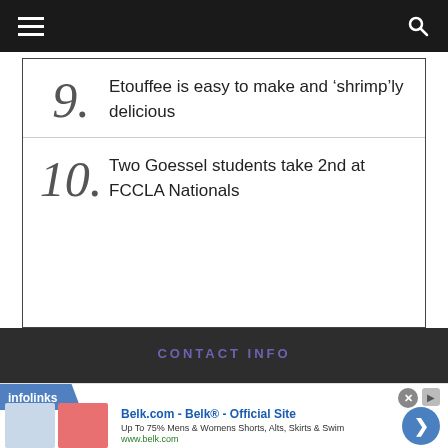Navigation bar with menu and search icons
9. Etouffee is easy to make and ‘shrimp’ly delicious
10. Two Goessel students take 2nd at FCCLA Nationals
CONTACT INFO
[Figure (other): Infolinks advertisement banner for Belk.com showing clothing items and text: Belk.com - Belk® - Official Site, Up To 75% Mens & Womens Shorts, Alts, Skirts & Swim, www.belk.com]